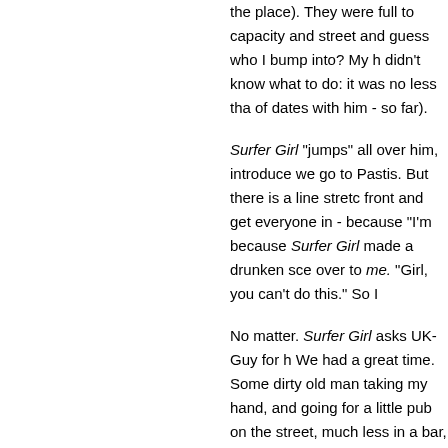the place). They were full to capacity and street and guess who I bump into? My h didn't know what to do: it was no less tha of dates with him - so far).
Surfer Girl "jumps" all over him, introduce we go to Pastis. But there is a line stretc front and get everyone in - because "I'm because Surfer Girl made a drunken sce over to me. "Girl, you can't do this." So I
No matter. Surfer Girl asks UK-Guy for h We had a great time. Some dirty old man taking my hand, and going for a little pub on the street, much less in a bar, and mu
We got kicked out of Pastis (I'm assumin had a little dance-off, more kissing, and g too). Stranded on the sidewalk, someone club. A ghetto stretch limo pulls up, and